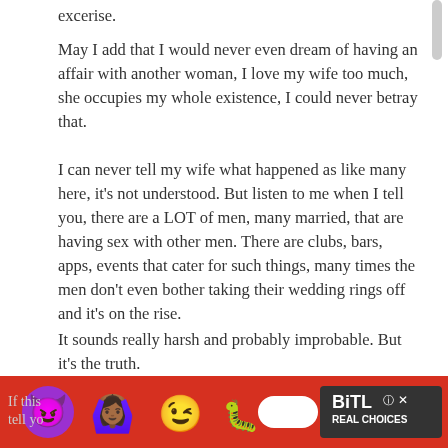excerise.
May I add that I would never even dream of having an affair with another woman, I love my wife too much, she occupies my whole existence, I could never betray that.
I can never tell my wife what happened as like many here, it's not understood. But listen to me when I tell you, there are a LOT of men, many married, that are having sex with other men. There are clubs, bars, apps, events that cater for such things, many times the men don't even bother taking their wedding rings off and it's on the rise.
It sounds really harsh and probably improbable. But it's the truth.
I hope I don't come across as a monster, I'm a really nice guy, and am burning inside to come clean with my wife and tell her everything, but I fear the response like 99% have highlighted here.
If this [text cut off by ad] d to tell yo[text cut off]
[Figure (screenshot): BitLife Real Choices advertisement banner with emojis (devil, woman with hands up, winking face) and sperm emoji on red background]